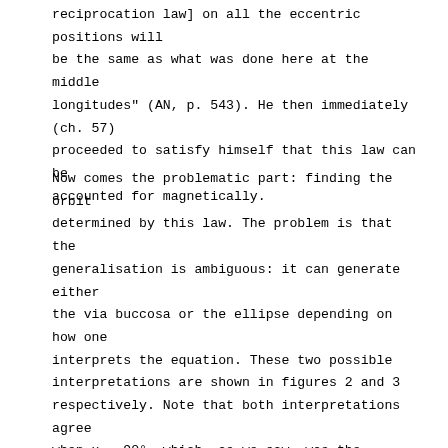reciprocation law] on all the eccentric positions will be the same as what was done here at the middle longitudes" (AN, p. 543). He then immediately (ch. 57) proceeded to satisfy himself that this law can be accounted for magnetically.
Now comes the problematic part: finding the orbit determined by this law. The problem is that the generalisation is ambiguous: it can generate either the via buccosa or the ellipse depending on how one interprets the equation. These two possible interpretations are shown in figures 2 and 3 respectively. Note that both interpretations agree when x = 90°, which, as we saw, was the empirical case that the law was induced from. Thus they are both permissible interpretations of the law. Indeed, Kepler makes this perfectly clear: on the basis of the reciprocation law "an orbit can be made for the planet... in a 'puff-cheeked' [i.e. via buccosa] form or